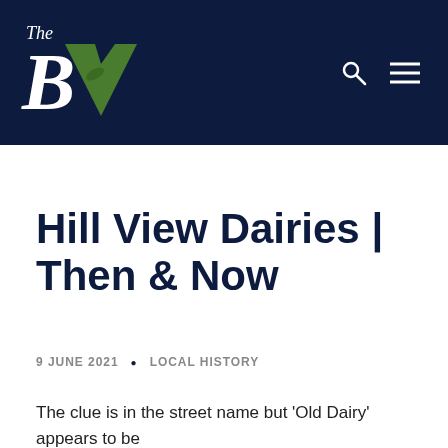[Figure (logo): The BV logo — white italic 'The' above a large white bold italic letter B with a green checkmark/tick forming the V, on a dark navy background. Search and hamburger menu icons on the right.]
Hill View Dairies | Then & Now
9 JUNE 2021 • LOCAL HISTORY
The clue is in the street name but 'Old Dairy' appears to be the...